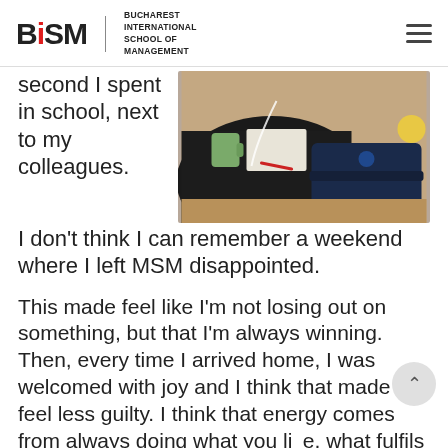BiSM - Bucharest International School of Management
second I spent in school, next to my colleagues. I don't think I can remember a weekend where I left MSM disappointed.
[Figure (photo): Photo of a person sitting at a wooden desk with a laptop bag, mug, and papers visible from above/behind]
This made feel like I'm not losing out on something, but that I'm always winning. Then, every time I arrived home, I was welcomed with joy and I think that made me feel less guilty. I think that energy comes from always doing what you like, what fulfils you and finding a balance between your career, family life and the need for development.